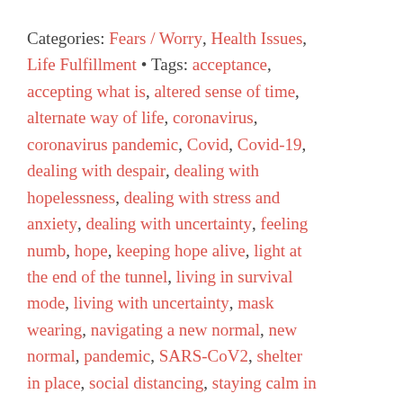Categories: Fears / Worry, Health Issues, Life Fulfillment • Tags: acceptance, accepting what is, altered sense of time, alternate way of life, coronavirus, coronavirus pandemic, Covid, Covid-19, dealing with despair, dealing with hopelessness, dealing with stress and anxiety, dealing with uncertainty, feeling numb, hope, keeping hope alive, light at the end of the tunnel, living in survival mode, living with uncertainty, mask wearing, navigating a new normal, new normal, pandemic, SARS-CoV2, shelter in place, social distancing, staying calm in the coronavirus crisis, staying sane in difficult times, survival mode, the